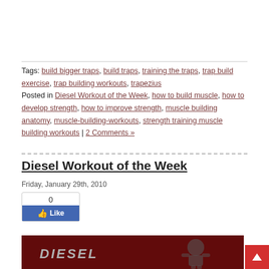Tags: build bigger traps, build traps, training the traps, trap build exercise, trap building workouts, trapezius
Posted in Diesel Workout of the Week, how to build muscle, how to develop strength, how to improve strength, muscle building anatomy, muscle-building-workouts, strength training muscle building workouts | 2 Comments »
Diesel Workout of the Week
Friday, January 29th, 2010
[Figure (other): Facebook Like button widget showing count 0 and a Like button with thumbs up icon in blue]
[Figure (photo): Dark red banner image with DIESEL text logo and a stylized muscular figure illustration]